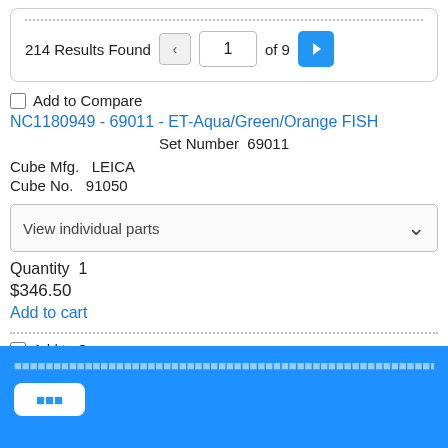214 Results Found  1  of 9
Add to Compare
NC1180949 - 69011 - ET-Aqua/Green/Orange FISH
Set Number  69011
Cube Mfg.  LEICA
Cube No.  91050
View individual parts
Quantity  1
$346.50
Add to cart
Add to Compare
NC1855887 - 59919 - ET - Green/Orange /8 FISH